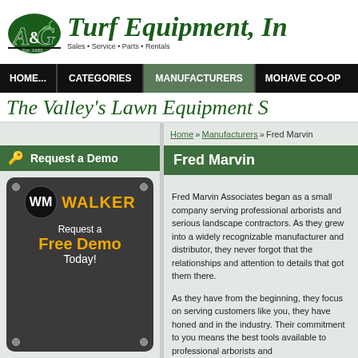[Figure (logo): A&G Turf Equipment, Inc. logo with green A&G emblem and italic text reading 'Turf Equipment, In...' Sales, Service, Parts, Rentals tagline]
HOME... | CATEGORIES | MANUFACTURERS | MOHAVE CO-OP
The Valley's Lawn Equipment S...
Home » Manufacturers » Fred Marvin
Request a Demo
[Figure (illustration): Walker Mowers advertisement showing Walker logo and text: Request a Free Demo Today!]
Fred Marvin
Fred Marvin Associates began as a small company serving professional arborists and serious landscape contractors. As they grew into a widely recognizable manufacturer and distributor, they never forgot that the relationships and attention to details that got them there.
As they have from the beginning, they focus on serving customers like you, they have honed a reputation for excellence in the industry. Their commitment to you means the best tools available to professional arborists and...
At A&G Turf, we offer the full line of Fr...